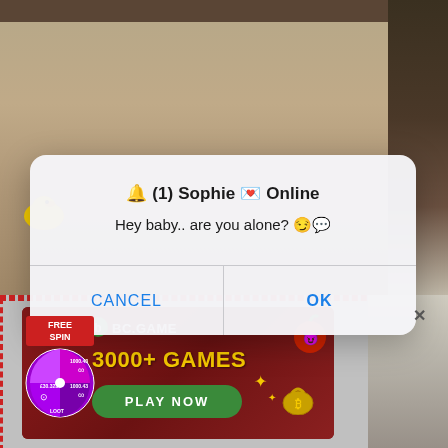[Figure (screenshot): Background photo of a person in a room with a yellow rubber duck visible on the left side]
[Figure (screenshot): Mobile OS notification dialog: title '🔔 (1) Sophie 💌 Online', body text 'Hey baby.. are you alone? 😏💬', with CANCEL and OK buttons]
[Figure (infographic): BC.GAME advertisement banner with spinning wheel on left showing FREE SPIN, text '3000+ GAMES' in yellow, and a green PLAY NOW button. Red dashed border around ad. Close X button top right.]